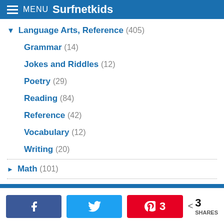MENU Surfnetkids
Language Arts, Reference (405)
Grammar (14)
Jokes and Riddles (12)
Poetry (29)
Reading (84)
Reference (42)
Vocabulary (12)
Writing (20)
Math (101)
Preschool, Kindergarten (34)
Science (599)
3 SHARES